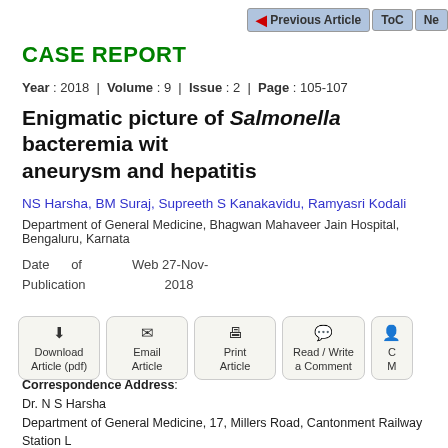Previous Article | ToC | Ne
CASE REPORT
Year : 2018 | Volume : 9 | Issue : 2 | Page : 105-107
Enigmatic picture of Salmonella bacteremia with aneurysm and hepatitis
NS Harsha, BM Suraj, Supreeth S Kanakavidu, Ramyasri Kodali
Department of General Medicine, Bhagwan Mahaveer Jain Hospital, Bengaluru, Karnataka
Date of Publication Web 27-Nov-2018
Download Article (pdf) | Email Article | Print Article | Read / Write a Comment
Correspondence Address:
Dr. N S Harsha
Department of General Medicine, 17, Millers Road, Cantonment Railway Station Layout, Vasanth Nagar, Bengaluru - 560 005, Karnataka
India
Login to access the email ID